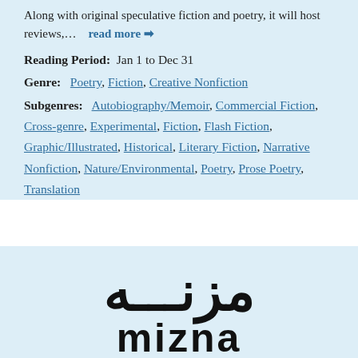Along with original speculative fiction and poetry, it will host reviews,…   read more →
Reading Period:  Jan 1 to Dec 31
Genre:  Poetry, Fiction, Creative Nonfiction
Subgenres:  Autobiography/Memoir, Commercial Fiction, Cross-genre, Experimental, Fiction, Flash Fiction, Graphic/Illustrated, Historical, Literary Fiction, Narrative Nonfiction, Nature/Environmental, Poetry, Prose Poetry, Translation
[Figure (logo): Mizna logo with Arabic script on top and Latin letters 'mizna' below, bold black text on light blue background]